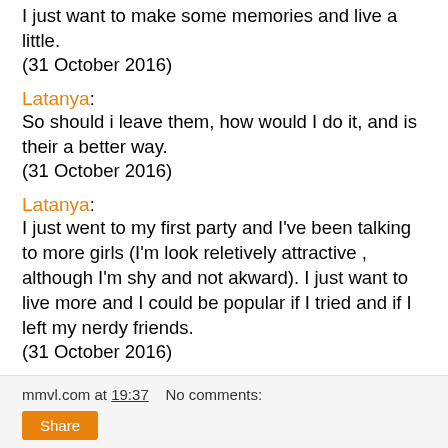I just want to make some memories and live a little.
(31 October 2016)
Latanya:
So should i leave them, how would I do it, and is their a better way.
(31 October 2016)
Latanya:
I just went to my first party and I've been talking to more girls (I'm look reletively attractive , although I'm shy and not akward). I just want to live more and I could be popular if I tried and if I left my nerdy friends.
(31 October 2016)
mmvl.com at 19:37    No comments:
Share
Kid at heart looking for romance